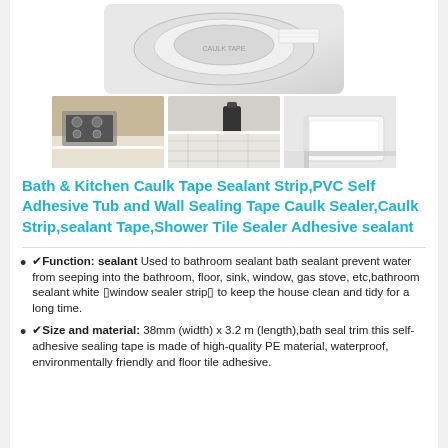[Figure (photo): Product photo of a roll of white caulk tape/sealant strip, shown from above, with three thumbnail images below showing kitchen stove edge, bathroom floor tile edge, and white bathtub corner applications.]
Bath & Kitchen Caulk Tape Sealant Strip,PVC Self Adhesive Tub and Wall Sealing Tape Caulk Sealer,Caulk Strip,sealant Tape,Shower Tile Sealer Adhesive sealant
✔Function: sealant Used to bathroom sealant bath sealant prevent water from seeping into the bathroom, floor, sink, window, gas stove, etc,bathroom sealant white  window sealer strip  to keep the house clean and tidy for a long time.
✔Size and material: 38mm (width) x 3.2 m (length),bath seal trim this self-adhesive sealing tape is made of high-quality PE material, waterproof, environmentally friendly and floor tile adhesive.